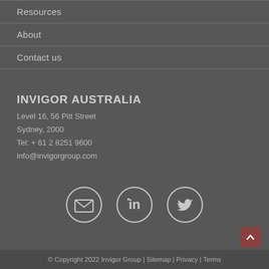Resources
About
Contact us
INVIGOR AUSTRALIA
Level 16, 56 Pitt Street
Sydney, 2000
Tel: + 61 2 8251 9600
info@invigorgroup.com
[Figure (infographic): Three circular social media icons: email/envelope icon, LinkedIn icon, Twitter/bird icon]
© Copyright 2022 Invigor Group | Sitemap | Privacy | Terms